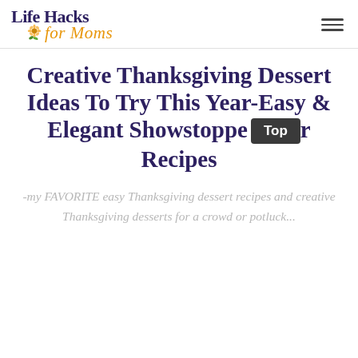Life Hacks for Moms
Creative Thanksgiving Dessert Ideas To Try This Year-Easy & Elegant Showstopper Recipes
-my FAVORITE easy Thanksgiving dessert recipes and creative Thanksgiving desserts for a crowd or potluck...